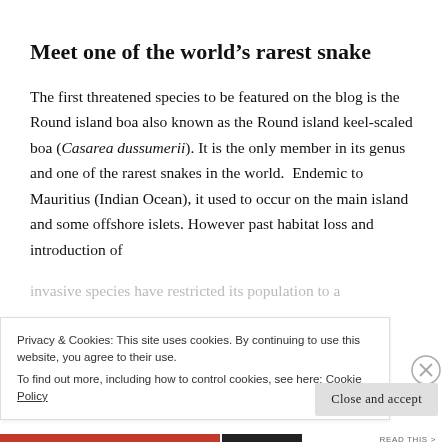Meet one of the world's rarest snake
The first threatened species to be featured on the blog is the Round island boa also known as the Round island keel-scaled boa (Casarea dussumerii). It is the only member in its genus and one of the rarest snakes in the world.  Endemic to Mauritius (Indian Ocean), it used to occur on the main island and some offshore islets. However past habitat loss and introduction of invasive species have restricted its population to a
Privacy & Cookies: This site uses cookies. By continuing to use this website, you agree to their use.
To find out more, including how to control cookies, see here: Cookie Policy